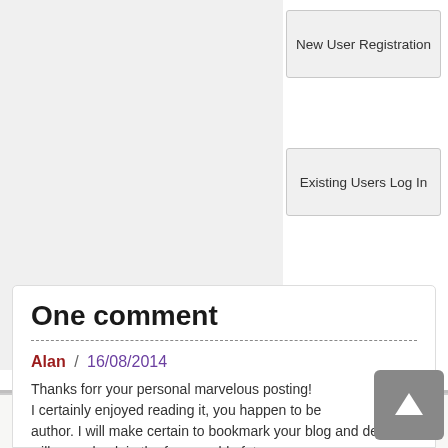New User Registration
Existing Users Log In
One comment
Alan / 16/08/2014
Thanks forr your personal marvelous posting! I certainly enjoyed reading it, you happen to be author. I will make certain to bookmark your blog and defini will come back in the foreseeable future.